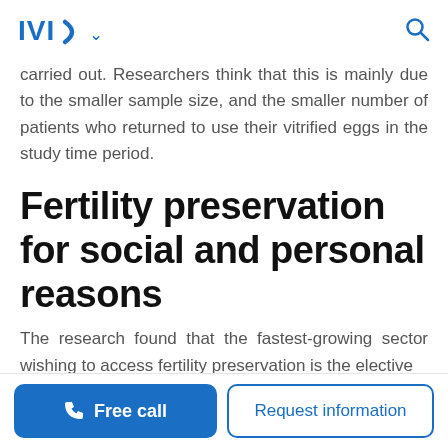IVI
carried out. Researchers think that this is mainly due to the smaller sample size, and the smaller number of patients who returned to use their vitrified eggs in the study time period.
Fertility preservation for social and personal reasons
The research found that the fastest-growing sector wishing to access fertility preservation is the elective